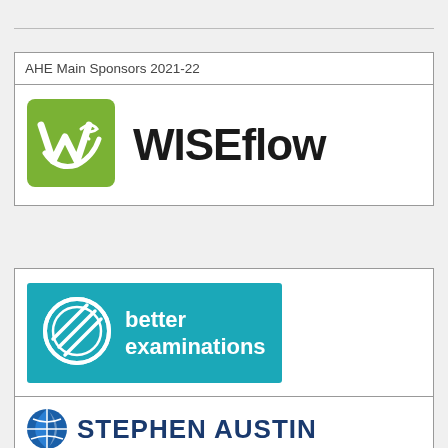AHE Main Sponsors 2021-22
[Figure (logo): WISEflow logo: green square with white W and dolphin checkmark icon, followed by bold black text 'WISEflow']
[Figure (logo): Better Examinations logo: teal/cyan rectangle with white circular striped icon and white bold text 'better examinations']
[Figure (logo): Stephen Austin logo (partially visible): blue globe/pie chart icon and dark blue bold text 'STEPHEN AUSTIN']